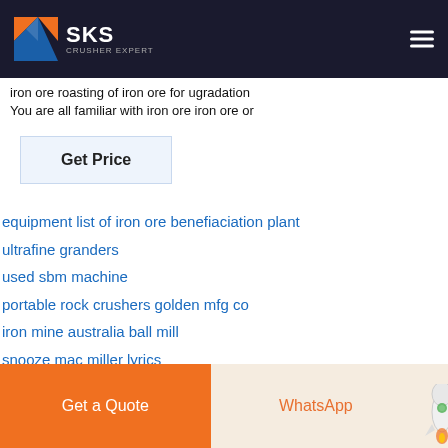valued at 145 billion US $1 $2 Roasting process of weakly magnetism ore Product Photos View Roasting process of ... iron ore roasting of iron ore for ugradation You are all familiar with iron ore iron ore or
[Figure (logo): SKS crusher expert logo with orange/blue geometric icon and white text on dark background]
You are all familiar with iron ore iron ore or
Get Price
equipment list of iron ore benefiaciation plant
ultrafine granders
used sbm machine
portable rock crushers golden mfg co
iron mine australia ball mill
snooze mac miller lyrics
roller mills diagrams mcabe
fujian cuisine snow chicken
Get a Quote    WhatsApp